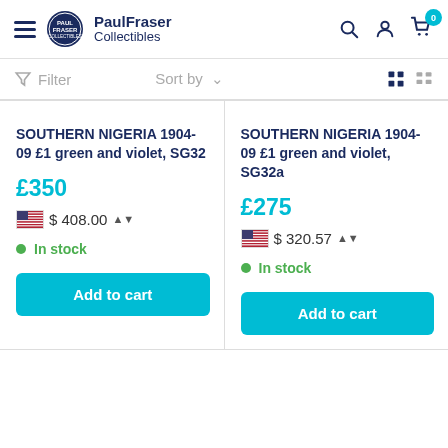PaulFraser Collectibles
Filter  Sort by
SOUTHERN NIGERIA 1904-09 £1 green and violet, SG32
£350
$408.00
In stock
Add to cart
SOUTHERN NIGERIA 1904-09 £1 green and violet, SG32a
£275
$320.57
In stock
Add to cart